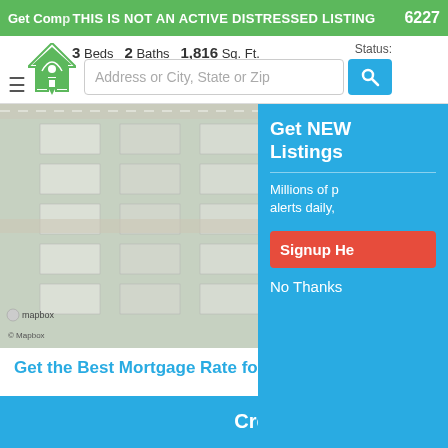Get Comp THIS IS NOT AN ACTIVE DISTRESSED LISTING 6227
[Figure (screenshot): Navigation bar with hamburger menu, home icon, property info (3 Beds, 2 Baths, 1,816 Sq. Ft.), address search box, and search button with Status label]
[Figure (map): Aerial map view with overlay text 'Interested in this property?' and 'View More Photos' button. Map shows King Ranch Dr and Sagebrush Trail labels with Mapbox/OpenStreetMap attribution.]
Get the Best Mortgage Rate for You
Create a Free Account
First Name
Last Name
Get NEW Listings
Millions of p alerts daily,
Signup He
No Thanks